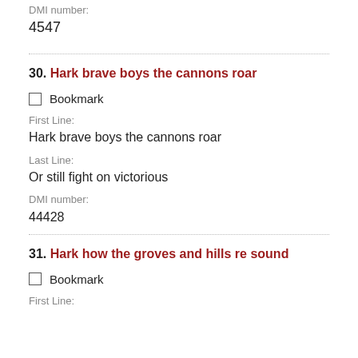DMI number:
4547
30. Hark brave boys the cannons roar
Bookmark
First Line:
Hark brave boys the cannons roar
Last Line:
Or still fight on victorious
DMI number:
44428
31. Hark how the groves and hills re sound
Bookmark
First Line: